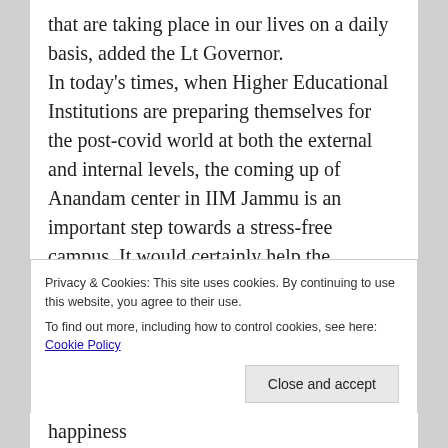that are taking place in our lives on a daily basis, added the Lt Governor. In today's times, when Higher Educational Institutions are preparing themselves for the post-covid world at both the external and internal levels, the coming up of Anandam center in IIM Jammu is an important step towards a stress-free campus. It would certainly help the students to take the journey of knowing the truth of life and would create a student-friendly environment in management education among other intensive disciplines like Business Policy, Public Sector Policy, Marketing, Brand Positioning, and Strategic Management, he added. The Lt Governor hoped that the new center would act as a
Privacy & Cookies: This site uses cookies. By continuing to use this website, you agree to their use. To find out more, including how to control cookies, see here: Cookie Policy
happiness